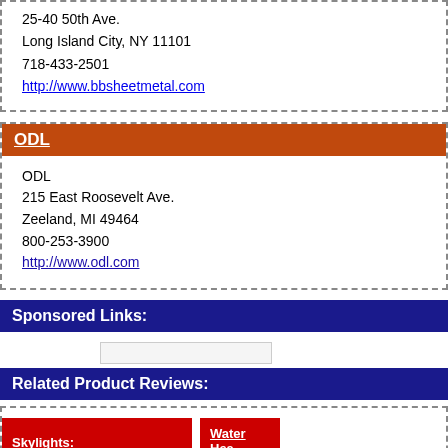25-40 50th Ave.
Long Island City, NY 11101
718-433-2501
http://www.bbsheetmetal.com
ODL
ODL
215 East Roosevelt Ave.
Zeeland, MI 49464
800-253-3900
http://www.odl.com
Sponsored Links:
Related Product Reviews:
Skylights:
Flexible Sun Tunnel
Water Hea
Solar Powe
Story added:
November 19, 2008
A solar tube with a little bit of give